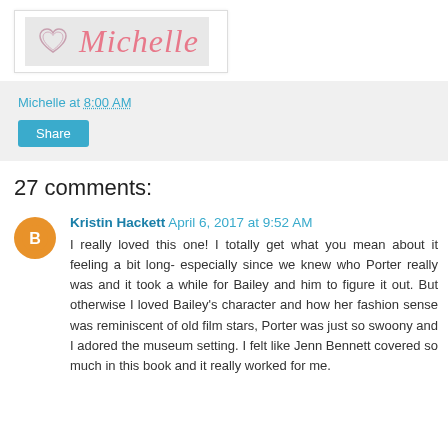[Figure (logo): Blog logo with heart icon and handwritten script text 'Michelle' in pink/rose color on a grey background, inside a white bordered box]
Michelle at 8:00 AM
Share
27 comments:
Kristin Hackett April 6, 2017 at 9:52 AM
I really loved this one! I totally get what you mean about it feeling a bit long- especially since we knew who Porter really was and it took a while for Bailey and him to figure it out. But otherwise I loved Bailey's character and how her fashion sense was reminiscent of old film stars, Porter was just so swoony and I adored the museum setting. I felt like Jenn Bennett covered so much in this book and it really worked for me.